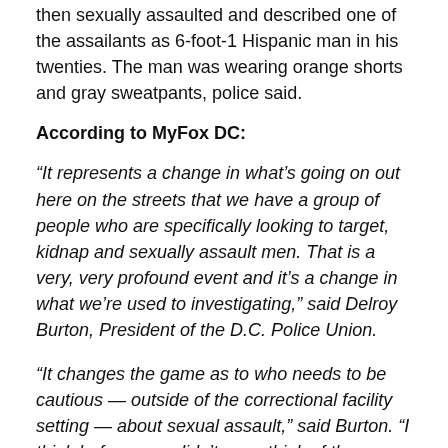then sexually assaulted and described one of the assailants as 6-foot-1 Hispanic man in his twenties. The man was wearing orange shorts and gray sweatpants, police said.
According to MyFox DC:
“It represents a change in what’s going on out here on the streets that we have a group of people who are specifically looking to target, kidnap and sexually assault men. That is a very, very profound event and it’s a change in what we’re used to investigating,” said Delroy Burton, President of the D.C. Police Union.
“It changes the game as to who needs to be cautious — outside of the correctional facility setting — about sexual assault,” said Burton. “I think before men didn’t even think of the possibility — walking up and down the street — and had to be guarded like we teach women to be guarded, but now that is a possibility.”
The first and subsequent incidents of this nature came and